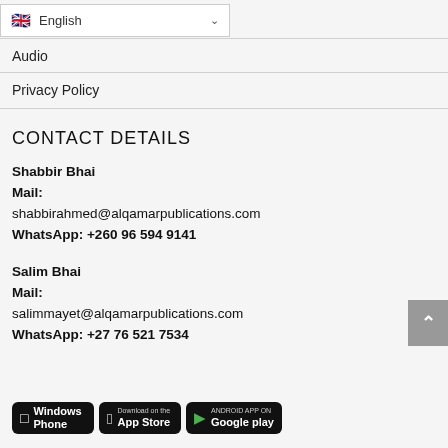English
Audio
Privacy Policy
CONTACT DETAILS
Shabbir Bhai
Mail:
shabbirahmed@alqamarpublications.com
WhatsApp: +260 96 594 9141
Salim Bhai
Mail:
salimmayet@alqamarpublications.com
WhatsApp: +27 76 521 7534
[Figure (screenshot): App store badges: Windows Phone, App Store, Google Play]